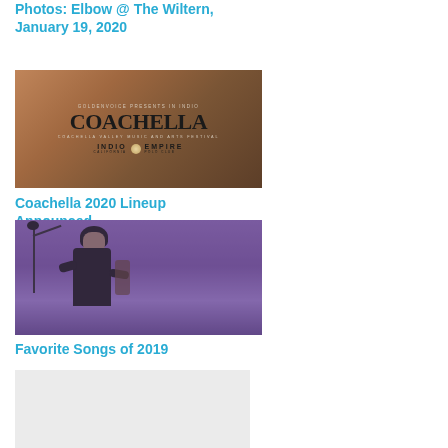Photos: Elbow @ The Wiltern, January 19, 2020
[Figure (photo): Coachella Valley Music and Arts Festival promotional banner/logo showing GOLDENVOICE PRESENTS IN INDIO, COACHELLA, COACHELLA VALLEY MUSIC AND ARTS FESTIVAL, INDIO CALIFORNIA, EMPIRE POLO CLUB]
Coachella 2020 Lineup Announced
[Figure (photo): Concert photo of a performer in a black outfit standing at a microphone stand on stage with purple lighting]
Favorite Songs of 2019
[Figure (photo): Gray/blank image placeholder at the bottom of the page]